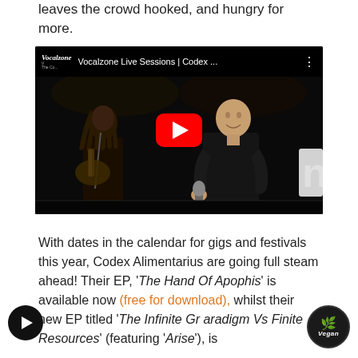leaves the crowd hooked, and hungry for more.
[Figure (screenshot): YouTube video thumbnail showing 'Vocalzone Live Sessions | Codex ...' with two band members performing — a guitarist with dreadlocks on the left and a vocalist on the right, with a red YouTube play button overlay in the center.]
With dates in the calendar for gigs and festivals this year, Codex Alimentarius are going full steam ahead! Their EP, 'The Hand Of Apophis' is available now (free for download), whilst their new EP titled 'The Infinite Gr... paradigm Vs Finite Resources' (featuring 'Arise'), is